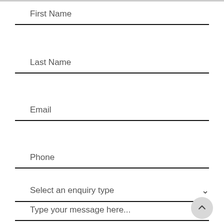First Name
Last Name
Email
Phone
Select an enquiry type
Type your message here...